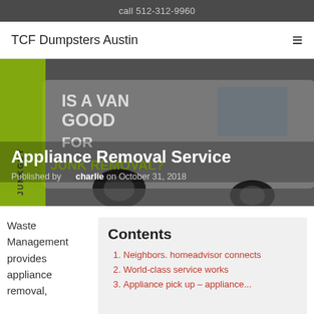call 512-312-9960
TCF Dumpsters Austin
[Figure (photo): Photo of a white junk removal van with green stripe and text 'Is a van good for junk removal?' overlaid with blog post title 'Appliance Removal Service' and byline 'Published by charlie on October 31, 2018']
Waste Management provides appliance removal,
Contents
Neighbors. homeadvisor connects
World-class service works
Appliance pick up – appliance...